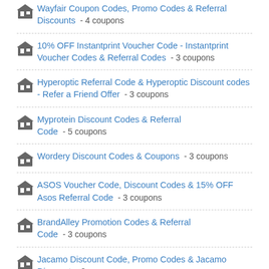Wayfair Coupon Codes, Promo Codes & Referral Discounts - 4 coupons
10% OFF Instantprint Voucher Code - Instantprint Voucher Codes & Referral Codes - 3 coupons
Hyperoptic Referral Code & Hyperoptic Discount codes - Refer a Friend Offer - 3 coupons
Myprotein Discount Codes & Referral Code - 5 coupons
Wordery Discount Codes & Coupons - 3 coupons
ASOS Voucher Code, Discount Codes & 15% OFF Asos Referral Code - 3 coupons
BrandAlley Promotion Codes & Referral Code - 3 coupons
Jacamo Discount Code, Promo Codes & Jacamo Discount - 2 coupons